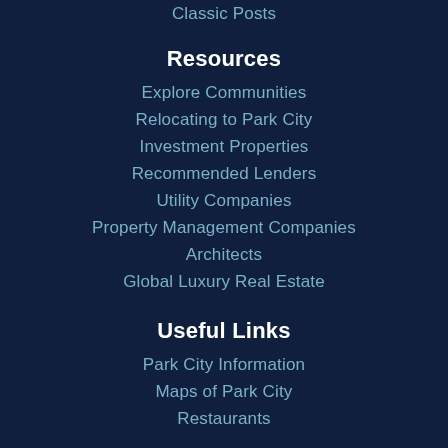Classic Posts
Resources
Explore Communities
Relocating to Park City
Investment Properties
Recommended Lenders
Utility Companies
Property Management Companies
Architects
Global Luxury Real Estate
Useful Links
Park City Information
Maps of Park City
Restaurants